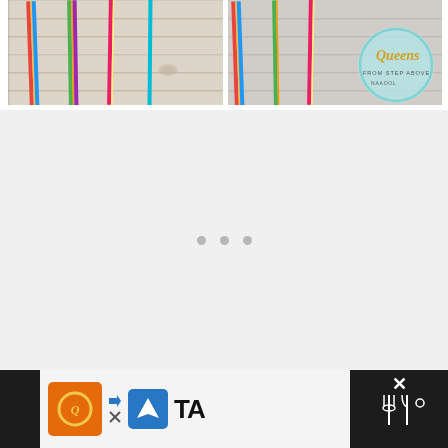[Figure (photo): Left photo showing pencils or markers lying on a white wood-textured surface with tile-like grooves]
[Figure (photo): Right photo showing similar pencils/markers on white wood surface with a circular logo overlay reading 'Queens' with decorative text below]
[Figure (other): Large white/light gray content loading area with three small gray loading indicator dots in the center]
[Figure (other): Bottom advertisement bar showing orange icon with gold circular logo, navigation arrow icon in blue, close X button, and dark right-side panel with X close button, 'TA' text, fork-and-knife icon, and temperature symbol]